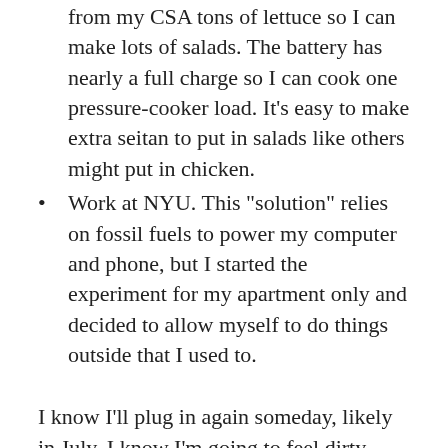from my CSA tons of lettuce so I can make lots of salads. The battery has nearly a full charge so I can cook one pressure-cooker load. It’s easy to make extra seitan to put in salads like others might put in chicken.
Work at NYU. This “solution” relies on fossil fuels to power my computer and phone, but I started the experiment for my apartment only and decided to allow myself to do things outside that I used to.
I know I’ll plug in again someday, likely in July. I know I’m going to feel dirty doing it. I’ll feel like I’m returning from a culture of less entitlement and cruelty to distant people. I’ll feel more comfortable not climbing thirty flights a day several days a week, but I expect I’ll feel I didn’t earn it and know I’ll be